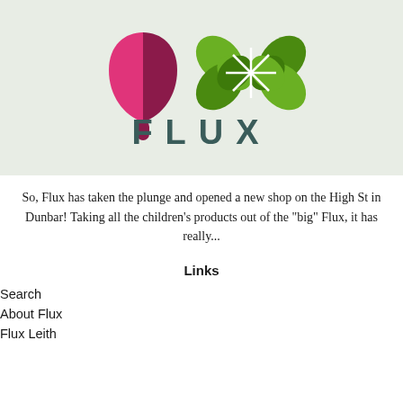[Figure (logo): Flux logo with pink and dark magenta tulip/leaf shape on the left and green four-petal flower with white star lines on the right, text FLUX in dark teal spaced capitals below, on a light sage green background]
So, Flux has taken the plunge and opened a new shop on the High St in Dunbar! Taking all the children's products out of the "big" Flux, it has really...
Links
Search
About Flux
Flux Leith